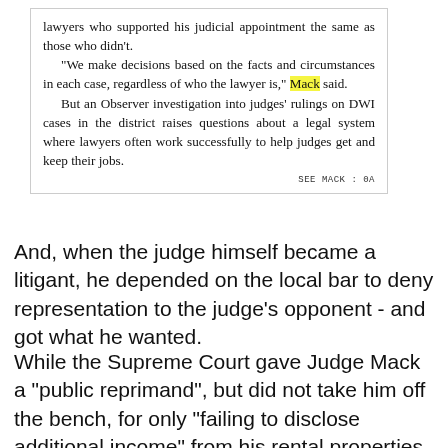[Figure (screenshot): Newspaper clipping with article text about Judge Mack and DWI cases, with the word 'Mack' highlighted in yellow.]
And, when the judge himself became a litigant, he depended on the local bar to deny representation to the judge's opponent - and got what he wanted.
While the Supreme Court gave Judge Mack a "public reprimand", but did not take him off the bench, for only "failing to disclose additional income" from his rental properties, the disciplinary decision raises